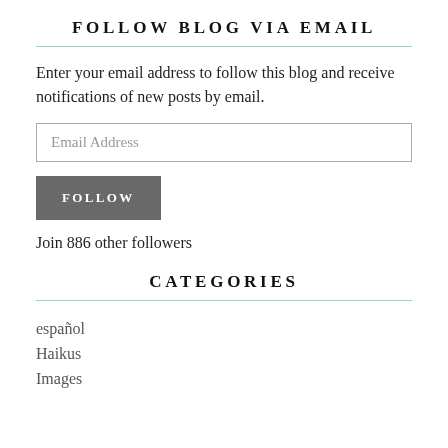FOLLOW BLOG VIA EMAIL
Enter your email address to follow this blog and receive notifications of new posts by email.
Email Address
FOLLOW
Join 886 other followers
CATEGORIES
español
Haikus
Images